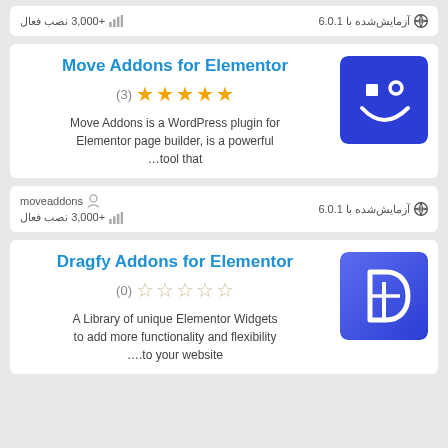+3,000 نصب فعال   آزمایش‌شده با 6.0.1
Move Addons for Elementor
(3) ★★★★★
Move Addons is a WordPress plugin for Elementor page builder, is a powerful tool that…
[Figure (logo): Blue square logo with white smiley face icon for Move Addons]
moveaddons   +3,000 نصب فعال   آزمایش‌شده با 6.0.1
Dragfy Addons for Elementor
(0) ☆☆☆☆☆
A Library of unique Elementor Widgets to add more functionality and flexibility to your website….
[Figure (logo): Blue square logo with white D letter icon for Dragfy Addons]